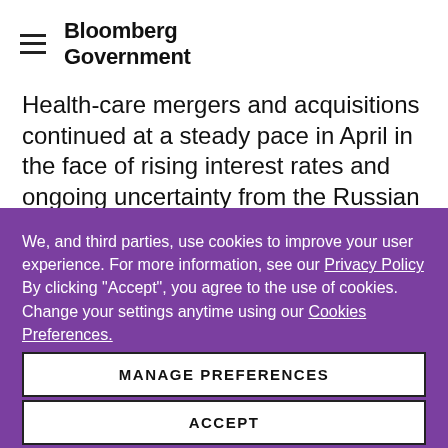Bloomberg Government
Health-care mergers and acquisitions continued at a steady pace in April in the face of rising interest rates and ongoing uncertainty from the Russian invasion of Ukraine. The total number of transactions for the
We, and third parties, use cookies to improve your user experience. For more information, see our Privacy Policy By clicking "Accept", you agree to the use of cookies. Change your settings anytime using our Cookies Preferences.
MANAGE PREFERENCES
ACCEPT